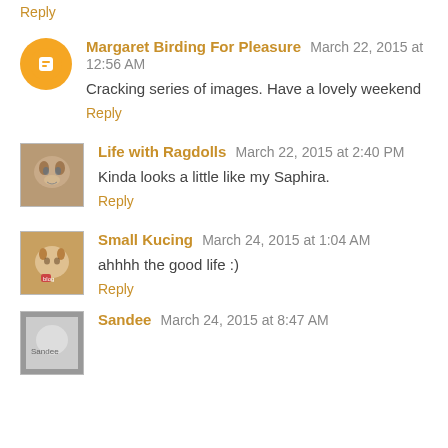Reply
Margaret Birding For Pleasure  March 22, 2015 at 12:56 AM
Cracking series of images. Have a lovely weekend
Reply
Life with Ragdolls  March 22, 2015 at 2:40 PM
Kinda looks a little like my Saphira.
Reply
Small Kucing  March 24, 2015 at 1:04 AM
ahhhh the good life :)
Reply
Sandee  March 24, 2015 at 8:47 AM